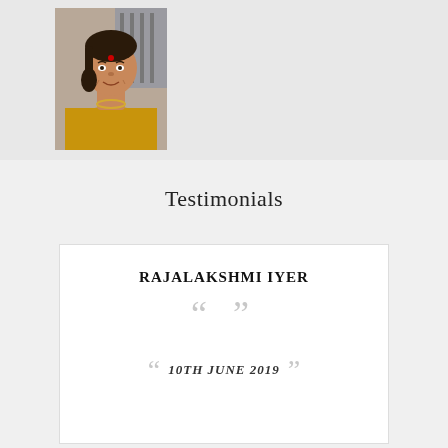[Figure (photo): Portrait photo of a woman wearing a yellow saree and necklace, smiling, with a bindi on her forehead]
Testimonials
RAJALAKSHMI IYER
10TH JUNE 2019